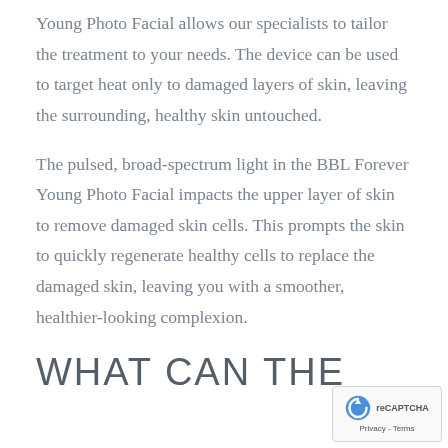Young Photo Facial allows our specialists to tailor the treatment to your needs. The device can be used to target heat only to damaged layers of skin, leaving the surrounding, healthy skin untouched.
The pulsed, broad-spectrum light in the BBL Forever Young Photo Facial impacts the upper layer of skin to remove damaged skin cells. This prompts the skin to quickly regenerate healthy cells to replace the damaged skin, leaving you with a smoother, healthier-looking complexion.
WHAT CAN THE